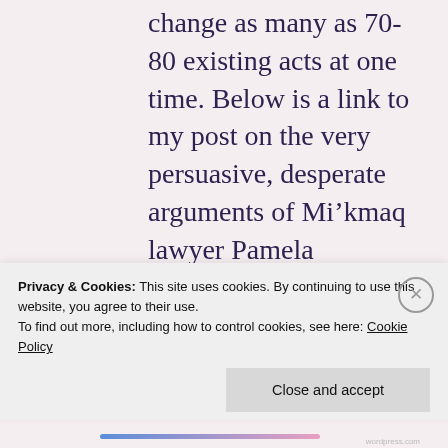change as many as 70-80 existing acts at one time. Below is a link to my post on the very persuasive, desperate arguments of Mi’kmaq lawyer Pamela Parmenter, whose eyes are wide open on what is going on.
A parliamentary government with a majority is capable of doing much more bad/good to/for Canada than a president can do to/for the US
Privacy & Cookies: This site uses cookies. By continuing to use this website, you agree to their use.
To find out more, including how to control cookies, see here: Cookie Policy